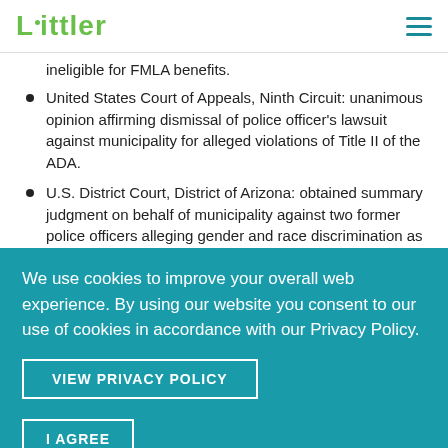Littler
ineligible for FMLA benefits.
United States Court of Appeals, Ninth Circuit: unanimous opinion affirming dismissal of police officer's lawsuit against municipality for alleged violations of Title II of the ADA.
U.S. District Court, District of Arizona: obtained summary judgment on behalf of municipality against two former police officers alleging gender and race discrimination as well as retaliation of former employer...
We use cookies to improve your overall web experience. By using our website you consent to our use of cookies in accordance with our Privacy Policy.
VIEW PRIVACY POLICY
I AGREE